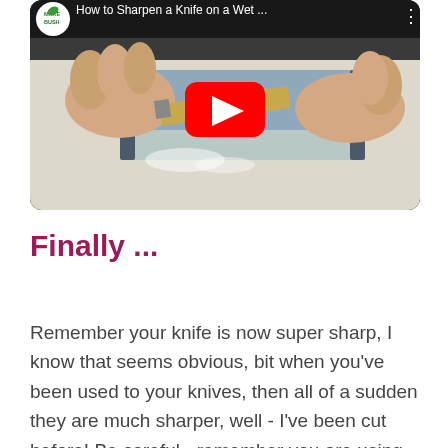[Figure (screenshot): YouTube video thumbnail showing hands sharpening a knife on a wet whetstone. Video title: 'How to Sharpen a Knife on a Wet ...' with a YouTube play button overlay. Channel logo visible top-left (MAKEBUSH).]
Finally ...
Remember your knife is now super sharp, I know that seems obvious, bit when you've been used to your knives, then all of a sudden they are much sharper, well - I've been cut before! Be careful - remember you are using the best knives there are!